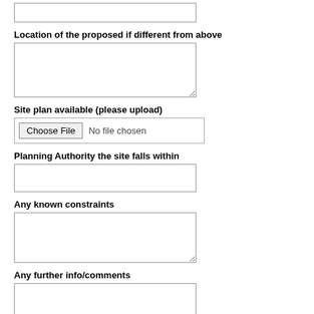[top input box — partial, cropped]
Location of the proposed if different from above
[textarea for location]
Site plan available (please upload)
Choose File  No file chosen
Planning Authority the site falls within
[input for planning authority]
Any known constraints
[textarea for constraints]
Any further info/comments
[textarea for further info]
Submit  Reset  Back